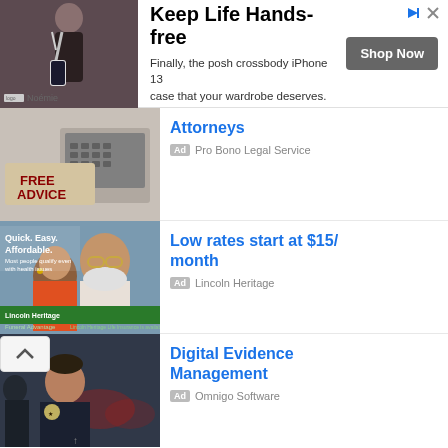[Figure (infographic): Top banner ad: Person wearing crossbody phone case, title 'Keep Life Hands-free', tagline about crossbody iPhone 13 case, Shop Now button, brand Noémie]
[Figure (infographic): Ad listing: Phone/legal imagery with 'FREE ADVICE' sign. Headline: Attorneys. Ad: Pro Bono Legal Service]
[Figure (infographic): Ad listing: Lincoln Heritage Funeral Advantage - couple smiling, 'Quick. Easy. Affordable.' text. Headline: Low rates start at $15/month. Ad: Lincoln Heritage]
[Figure (infographic): Ad listing: Police officer photo. Headline: Digital Evidence Management. Ad: Omnigo Software]